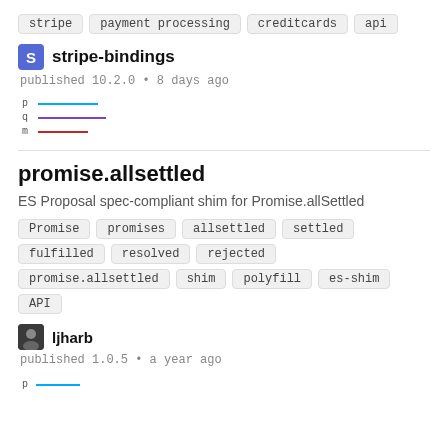stripe
payment processing
creditcards
api
stripe-bindings
published 10.2.0 • 8 days ago
[Figure (line-chart): Sparkline popularity chart with p, q, m lines in blue, purple, red]
promise.allsettled
ES Proposal spec-compliant shim for Promise.allSettled
Promise
promises
allsettled
settled
fulfilled
resolved
rejected
promise.allsettled
shim
polyfill
es-shim
API
ljharb
published 1.0.5 • a year ago
[Figure (line-chart): Sparkline with p line in blue]